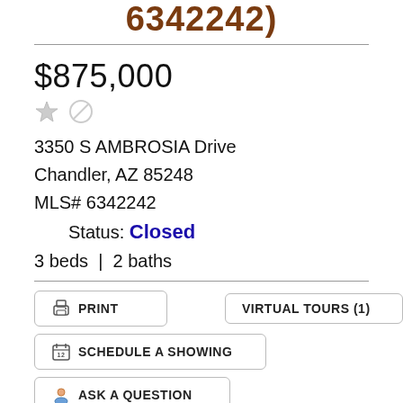6342242)
$875,000
3350 S AMBROSIA Drive
Chandler, AZ 85248
MLS# 6342242
Status: Closed
3 beds | 2 baths
[Figure (other): Print button with printer icon, Virtual Tours (1) button, Schedule a Showing button with calendar icon, Ask a Question button with agent icon]